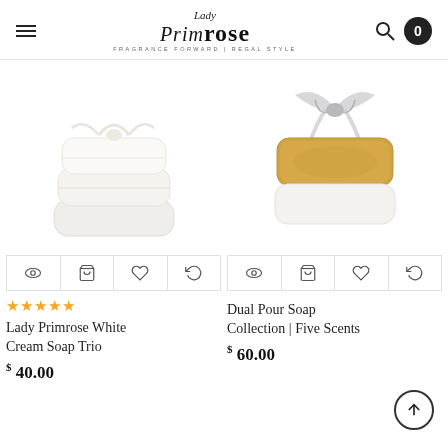Lady Primrose — FRAGRANCE FORWARD | REGAL STYLE
[Figure (photo): Stack of three white cream soaps tied with a white ribbon bow]
[Figure (photo): Two soaps (one golden amber, one white) wrapped in sheer organza ribbon tied with a large silver bow]
★★★★★
Lady Primrose White Cream Soap Trio
$ 40.00
Dual Pour Soap Collection | Five Scents
$ 60.00